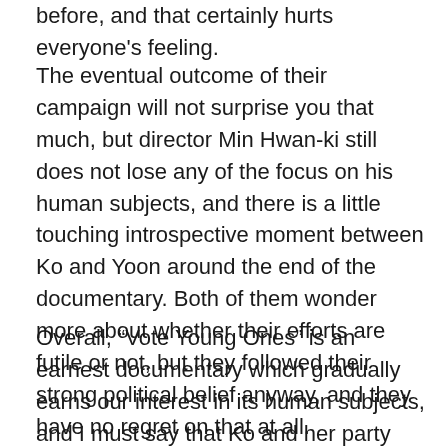before, and that certainly hurts everyone's feeling.
The eventual outcome of their campaign will not surprise you that much, but director Min Hwan-ki still does not lose any of the focus on his human subjects, and there is a little touching introspective moment between Ko and Yoon around the end of the documentary. Both of them wonder more about whether their efforts are futile or not, but they followed their strong political belief anyway, and they have no regret on that at all.
Overall, “Vote Young Ones” is an earnest documentary which gradually earns our interest in its human subjects, and I must say that Ko and her party members did deserve every vote they got at the end of their campaign. They surely feel like a fresh air in contrast to the hopeless corruption and stagnation shown among many local